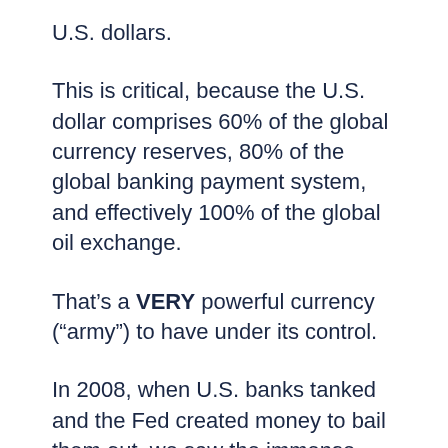U.S. dollars.
This is critical, because the U.S. dollar comprises 60% of the global currency reserves, 80% of the global banking payment system, and effectively 100% of the global oil exchange.
That’s a VERY powerful currency (“army”) to have under its control.
In 2008, when U.S. banks tanked and the Fed created money to bail them out, we saw the immense power of this central bank.